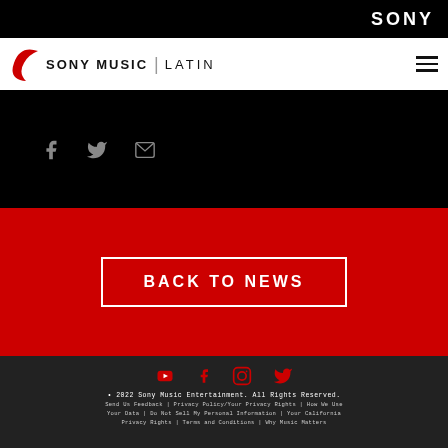SONY
[Figure (logo): Sony Music Latin logo with red swish]
[Figure (infographic): Social share icons: Facebook, Twitter, Email in gray on black background]
BACK TO NEWS
[Figure (infographic): Footer social icons: YouTube, Facebook, Instagram, Twitter in red]
• 2022 Sony Music Entertainment. All Rights Reserved.
Send Us Feedback | Privacy Policy/Your Privacy Rights | How We Use Your Data | Do Not Sell My Personal Information | Your California Privacy Rights | Terms and Conditions | Why Music Matters